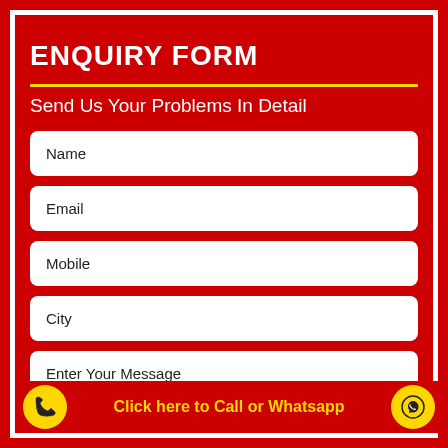ENQUIRY FORM
Send Us Your Problems In Detail
Name
Email
Mobile
City
Enter Your Message
Click here to Call or Whatsapp